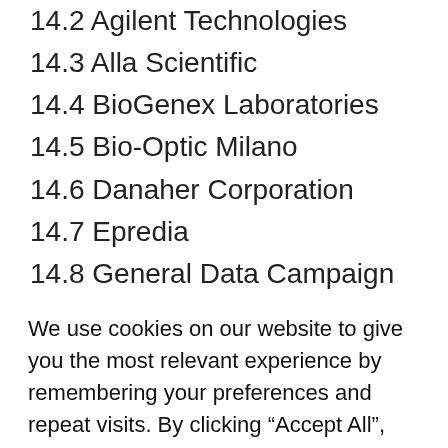14.2 Agilent Technologies
14.3 Alla Scientific
14.4 BioGenex Laboratories
14.5 Bio-Optic Milano
14.6 Danaher Corporation
14.7 Epredia
14.8 General Data Campaign
14.9 Leica Biosystems
14.10 MEDIT
14.11 Merc...
We use cookies on our website to give you the most relevant experience by remembering your preferences and repeat visits. By clicking “Accept All”, you consent to the use of ALL the cookies. However, you may visit "Cookie Settings" to provide a controlled consent.